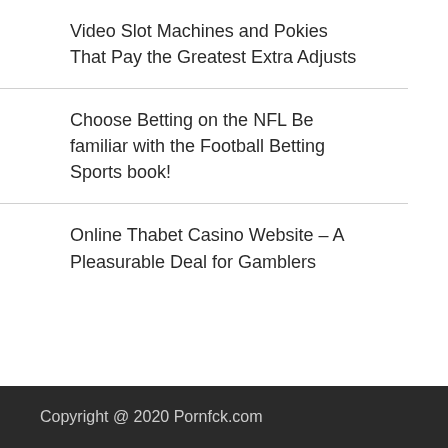Video Slot Machines and Pokies That Pay the Greatest Extra Adjusts
Choose Betting on the NFL Be familiar with the Football Betting Sports book!
Online Thabet Casino Website – A Pleasurable Deal for Gamblers
Copyright @ 2020 Pornfck.com